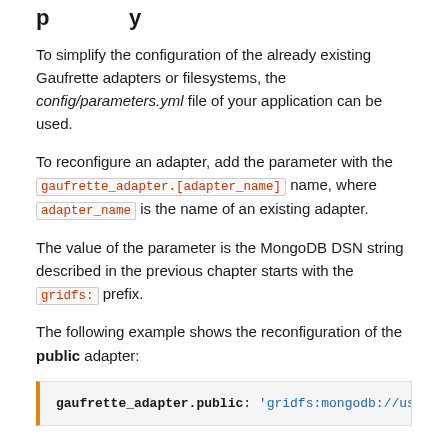To simplify the configuration of the already existing Gaufrette adapters or filesystems, the config/parameters.yml file of your application can be used.
To reconfigure an adapter, add the parameter with the gaufrette_adapter.[adapter_name] name, where adapter_name is the name of an existing adapter.
The value of the parameter is the MongoDB DSN string described in the previous chapter starts with the gridfs: prefix.
The following example shows the reconfiguration of the public adapter:
[Figure (screenshot): Code block showing: gaufrette_adapter.public: 'gridfs:mongodb://user:password...]
To get the list of existing Gaufrette adapters, use the following command:
[Figure (screenshot): Code block (partial, cut off at bottom of page)]